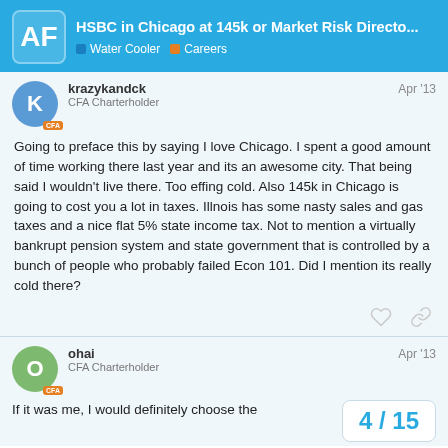AF HSBC in Chicago at 145k or Market Risk Directo... Water Cooler | Careers
krazykandck
CFA Charterholder
Apr '13
Going to preface this by saying I love Chicago. I spent a good amount of time working there last year and its an awesome city. That being said I wouldn't live there. Too effing cold. Also 145k in Chicago is going to cost you a lot in taxes. Illnois has some nasty sales and gas taxes and a nice flat 5% state income tax. Not to mention a virtually bankrupt pension system and state government that is controlled by a bunch of people who probably failed Econ 101. Did I mention its really cold there?
ohai
CFA Charterholder
Apr '13
4 / 15
If it was me, I would definitely choose the